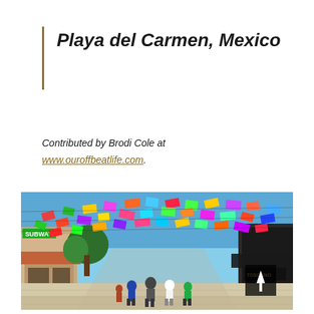Playa del Carmen, Mexico
Contributed by Brodi Cole at www.ouroffbeatlife.com.
[Figure (photo): Busy pedestrian street in Playa del Carmen, Mexico with colorful papel picado flags and banners strung overhead between buildings, shops lining both sides, tourists walking, bright blue sky.]